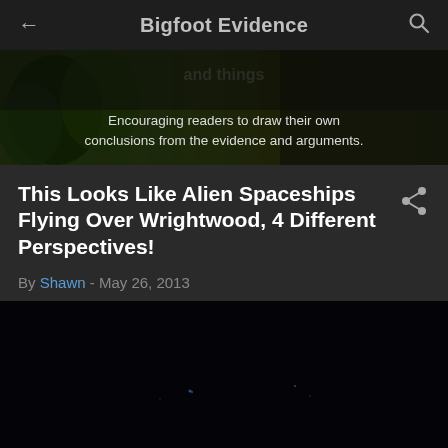Bigfoot Evidence
[Figure (photo): Banner image with forest/trees background and text overlay: 'Encouraging readers to draw their own conclusions from the evidence and arguments.']
This Looks Like Alien Spaceships Flying Over Wrightwood, 4 Different Perspectives!
By Shawn - May 26, 2013
[Figure (photo): Very dark/nearly black night sky photo with faint blue light points visible, suggesting nighttime aerial objects.]